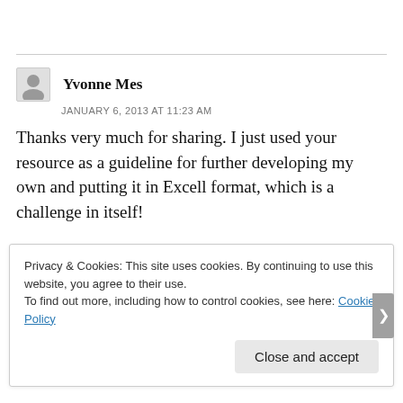Yvonne Mes
JANUARY 6, 2013 AT 11:23 AM
Thanks very much for sharing. I just used your resource as a guideline for further developing my own and putting it in Excell format, which is a challenge in itself!
Like
Privacy & Cookies: This site uses cookies. By continuing to use this website, you agree to their use.
To find out more, including how to control cookies, see here: Cookie Policy
Close and accept